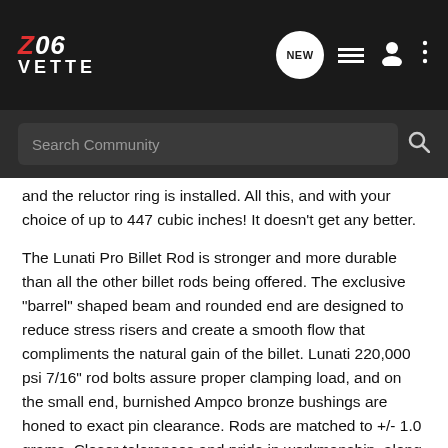Z06VETTE — NEW
Search Community
and the reluctor ring is installed. All this, and with your choice of up to 447 cubic inches! It doesn't get any better.
The Lunati Pro Billet Rod is stronger and more durable than all the other billet rods being offered. The exclusive "barrel" shaped beam and rounded end are designed to reduce stress risers and create a smooth flow that compliments the natural gain of the billet. Lunati 220,000 psi 7/16" rod bolts assure proper clamping load, and on the small end, burnished Ampco bronze bushings are honed to exact pin clearance. Rods are matched to +/- 1.0 grams. Closer tolerances and pride in workmanship, along with strict quality control make the Lunati Pro Billet the only logical choice for the serious racer
Lunati pioneered the development of the 4340 forged